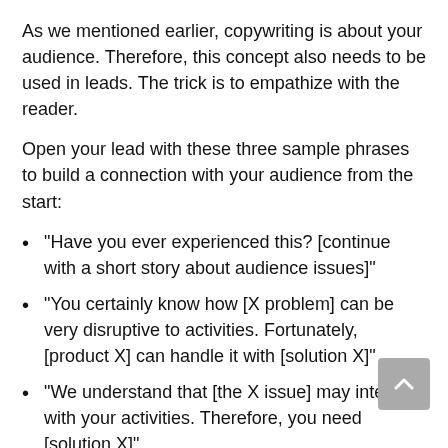As we mentioned earlier, copywriting is about your audience. Therefore, this concept also needs to be used in leads. The trick is to empathize with the reader.
Open your lead with these three sample phrases to build a connection with your audience from the start:
“Have you ever experienced this? [continue with a short story about audience issues]”
“You certainly know how [X problem] can be very disruptive to activities. Fortunately, [product X] can handle it with [solution X]”
“We understand that [the X issue] may interfere with your activities. Therefore, you need [solution X]”
Start with Facts
As in any type of writing, data, facts, or quotes from a trusted source can be used as a lead opener.